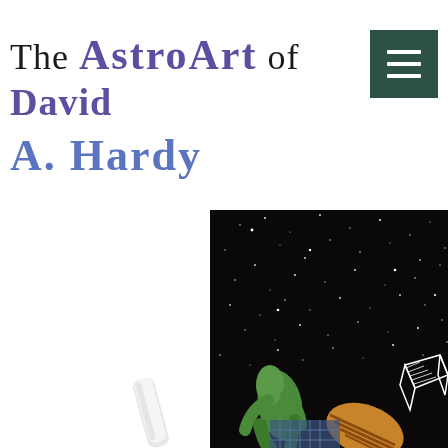The AstroArt of David A. Hardy
[Figure (illustration): Science fiction space illustration showing a green alien figure and golden/striped form against a star-filled black space background, with a white wireframe structure visible on the right side. Bottom portion also shows a partial white pen/stylus shape.]